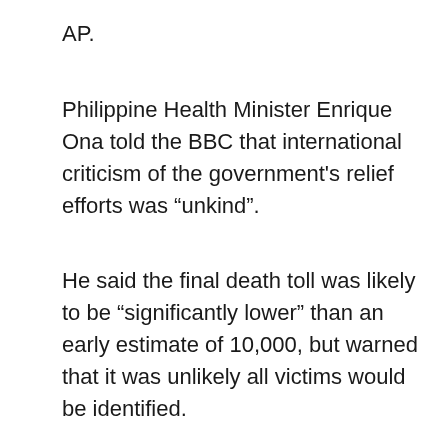AP.
Philippine Health Minister Enrique Ona told the BBC that international criticism of the government's relief efforts was “unkind”.
He said the final death toll was likely to be “significantly lower” than an early estimate of 10,000, but warned that it was unlikely all victims would be identified.
Looting
The full extent of what is needed to help survivors has yet to emerge as aid workers struggle to reach more isolated areas.